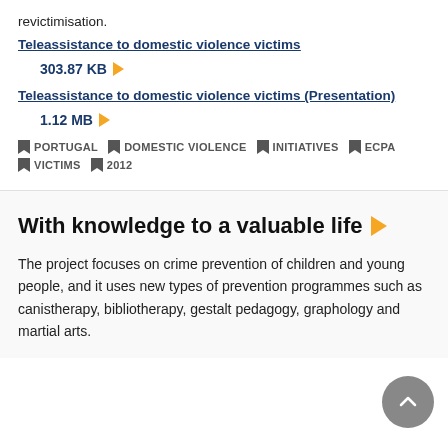revictimisation.
Teleassistance to domestic violence victims
303.87 KB
Teleassistance to domestic violence victims (Presentation)
1.12 MB
PORTUGAL
DOMESTIC VIOLENCE
INITIATIVES
ECPA
VICTIMS
2012
With knowledge to a valuable life
The project focuses on crime prevention of children and young people, and it uses new types of prevention programmes such as canistherapy, bibliotherapy, gestalt pedagogy, graphology and martial arts.